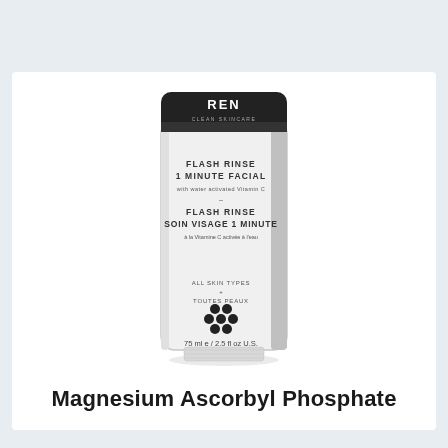[Figure (photo): REN Clean Skincare Flash Rinse 1 Minute Facial tube, white with black cap, 75ml/2.5 fl oz, with water activated Vitamin C. Also labeled in French: Soin Visage 1 Minute. All skin types / Toutes Peaux. Flower logo near bottom.]
Magnesium Ascorbyl Phosphate